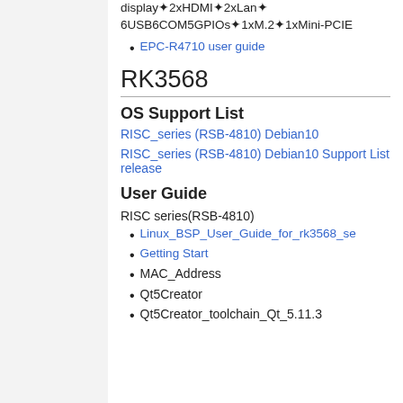display✦2xHDMI✦2xLan✦6USB6COM5GPIOs✦1xM.2✦1xMini-PCIE
EPC-R4710 user guide
RK3568
OS Support List
RISC_series (RSB-4810) Debian10
RISC_series (RSB-4810) Debian10 Support List release
User Guide
RISC series(RSB-4810)
Linux_BSP_User_Guide_for_rk3568_se
Getting Start
MAC_Address
Qt5Creator
Qt5Creator_toolchain_Qt_5.11.3